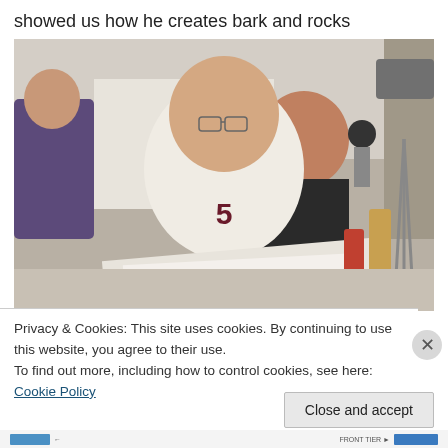showed us how he creates bark and rocks
[Figure (photo): A man in a white polo shirt with number 5 wearing glasses, looking down at papers on a table. Another person in a dark t-shirt sits in the background. A camera on a tripod is visible on the right. Bottles are on the table.]
Privacy & Cookies: This site uses cookies. By continuing to use this website, you agree to their use.
To find out more, including how to control cookies, see here: Cookie Policy